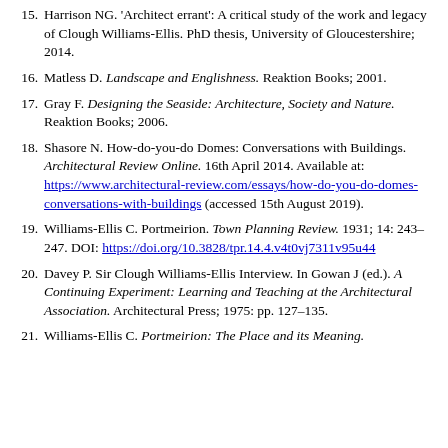Harrison NG. 'Architect errant': A critical study of the work and legacy of Clough Williams-Ellis. PhD thesis, University of Gloucestershire; 2014.
Matless D. Landscape and Englishness. Reaktion Books; 2001.
Gray F. Designing the Seaside: Architecture, Society and Nature. Reaktion Books; 2006.
Shasore N. How-do-you-do Domes: Conversations with Buildings. Architectural Review Online. 16th April 2014. Available at: https://www.architectural-review.com/essays/how-do-you-do-domes-conversations-with-buildings (accessed 15th August 2019).
Williams-Ellis C. Portmeirion. Town Planning Review. 1931; 14: 243–247. DOI: https://doi.org/10.3828/tpr.14.4.v4t0vj7311v95u44
Davey P. Sir Clough Williams-Ellis Interview. In Gowan J (ed.). A Continuing Experiment: Learning and Teaching at the Architectural Association. Architectural Press; 1975: pp. 127–135.
Williams-Ellis C. Portmeirion: The Place and its Meaning.